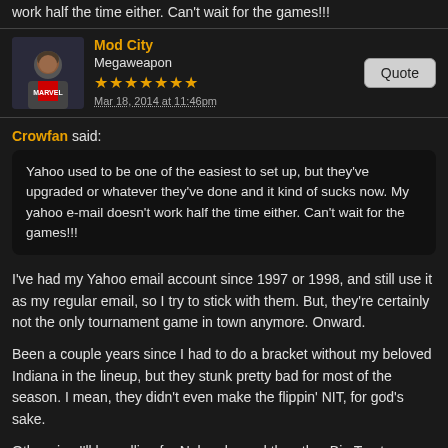work half the time either. Can't wait for the games!!!
Mod City
Megaweapon
Mar 18, 2014 at 11:46pm
Quote
Crowfan said:
Yahoo used to be one of the easiest to set up, but they've upgraded or whatever they've done and it kind of sucks now. My yahoo e-mail doesn't work half the time either. Can't wait for the games!!!
I've had my Yahoo email account since 1997 or 1998, and still use it as my regular email, so I try to stick with them. But, they're certainly not the only tournament game in town anymore. Onward.
Been a couple years since I had to do a bracket without my beloved Indiana in the lineup, but they stunk pretty bad for most of the season. I mean, they didn't even make the flippin' NIT, for god's sake.
Otherwise I'll be pulling for Nebraska and the other Big Ten teams. And